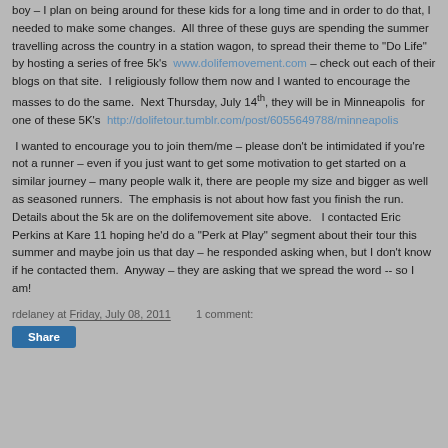boy – I plan on being around for these kids for a long time and in order to do that, I needed to make some changes.  All three of these guys are spending the summer travelling across the country in a station wagon, to spread their theme to "Do Life" by hosting a series of free 5k's  www.dolifemovement.com – check out each of their blogs on that site.  I religiously follow them now and I wanted to encourage the masses to do the same.  Next Thursday, July 14th, they will be in Minneapolis  for one of these 5K's  http://dolifetour.tumblr.com/post/6055649788/minneapolis
I wanted to encourage you to join them/me – please don't be intimidated if you're not a runner – even if you just want to get some motivation to get started on a similar journey – many people walk it, there are people my size and bigger as well as seasoned runners.  The emphasis is not about how fast you finish the run.   Details about the 5k are on the dolifemovement site above.   I contacted Eric Perkins at Kare 11 hoping he'd do a "Perk at Play" segment about their tour this summer and maybe join us that day – he responded asking when, but I don't know if he contacted them.  Anyway – they are asking that we spread the word -- so I am!
rdelaney at Friday, July 08, 2011   1 comment: